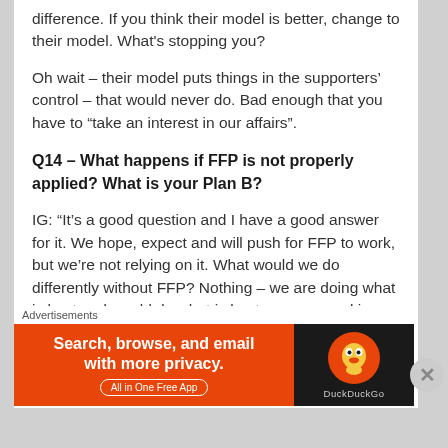difference. If you think their model is better, change to their model. What's stopping you?
Oh wait – their model puts things in the supporters’ control – that would never do. Bad enough that you have to “take an interest in our affairs”.
Q14 – What happens if FFP is not properly applied? What is your Plan B?
IG: “It’s a good question and I have a good answer for it. We hope, expect and will push for FFP to work, but we’re not relying on it. What would we do differently without FFP? Nothing – we are doing what is best and would do what is best anyway: working within our budget,
Advertisements
[Figure (infographic): DuckDuckGo advertisement banner. Left side orange background with text 'Search, browse, and email with more privacy. All in One Free App'. Right side dark background with DuckDuckGo logo and brand name.]